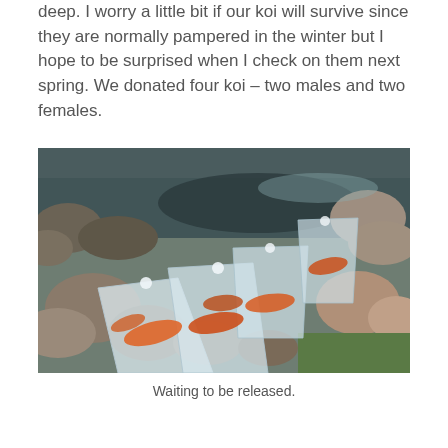deep. I worry a little bit if our koi will survive since they are normally pampered in the winter but I hope to be surprised when I check on them next spring. We donated four koi – two males and two females.
[Figure (photo): Photograph of four koi fish in clear plastic bags filled with water, resting on rocks beside a pond, waiting to be released.]
Waiting to be released.